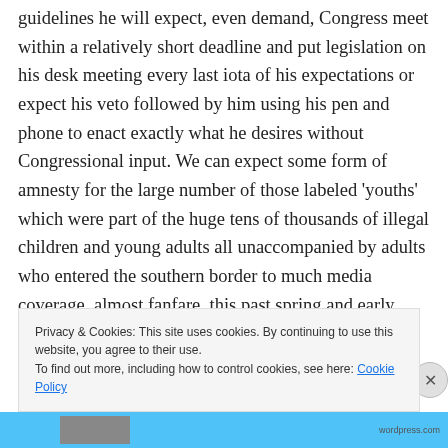guidelines he will expect, even demand, Congress meet within a relatively short deadline and put legislation on his desk meeting every last iota of his expectations or expect his veto followed by him using his pen and phone to enact exactly what he desires without Congressional input. We can expect some form of amnesty for the large number of those labeled 'youths' which were part of the huge tens of thousands of illegal children and young adults all unaccompanied by adults who entered the southern border to much media coverage, almost fanfare, this past spring and early summer. How much further President
Privacy & Cookies: This site uses cookies. By continuing to use this website, you agree to their use.
To find out more, including how to control cookies, see here: Cookie Policy